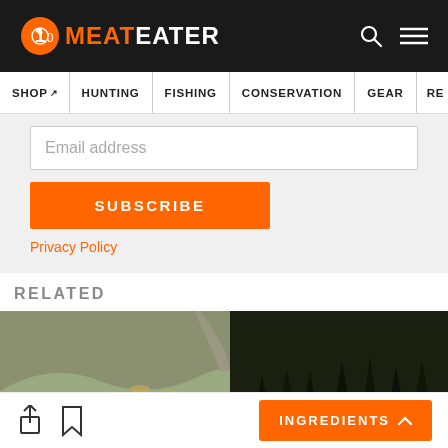MeatEater
SHOP | HUNTING | FISHING | CONSERVATION | GEAR | RE
Email address
SUBSCRIBE
Privacy Policy
RELATED
[Figure (photo): Landscape photo of a grassy hillside with dark burned/conifer forest in the background]
INGREDIENTS